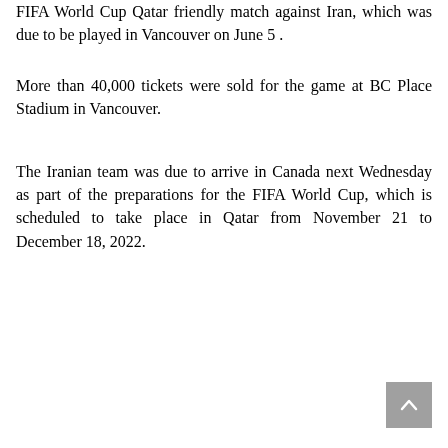FIFA World Cup Qatar friendly match against Iran, which was due to be played in Vancouver on June 5 .
More than 40,000 tickets were sold for the game at BC Place Stadium in Vancouver.
The Iranian team was due to arrive in Canada next Wednesday as part of the preparations for the FIFA World Cup, which is scheduled to take place in Qatar from November 21 to December 18, 2022.